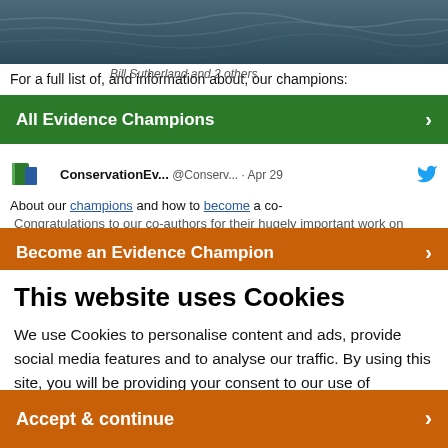[Figure (photo): Ocean waves photograph at top of page]
For a full list of, and information about, our champions:
Bill Sutherland and 2 others
All Evidence Champions
ConservationEv... @Conserv... · Apr 29
About our champions and how to become a co-authors for their hugely important work on reviewed provided references that justified recommended actions!
Become an Evidence Champion
This website uses Cookies
We use Cookies to personalise content and ads, provide social media features and to analyse our traffic. By using this site, you will be providing your consent to our use of Cookies.
Accept & continue